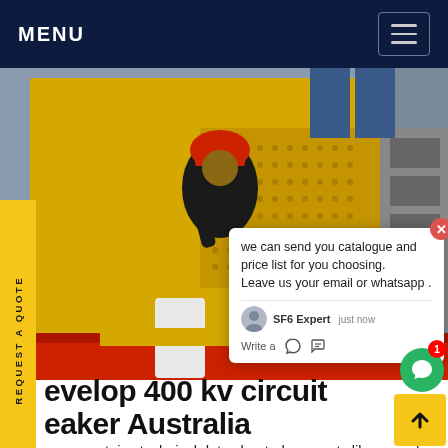MENU
[Figure (photo): Worker in red hard hat and black jacket inspecting yellow industrial equipment (SF6 circuit breaker / high voltage switchgear) outdoors. Yellow machinery with perforated panels visible in background.]
REQUEST A QUOTE
we can send you catalogue and price list for you choosing.
Leave us your email or whatsapp .
SF6 Expert   just now
Write a
evelop 400 kv circuit eaker Australia
This page contains technical data sheet, documents library and links to offering related to this produ you require any other information, please conta using form located at the bottom of the page. XT5N